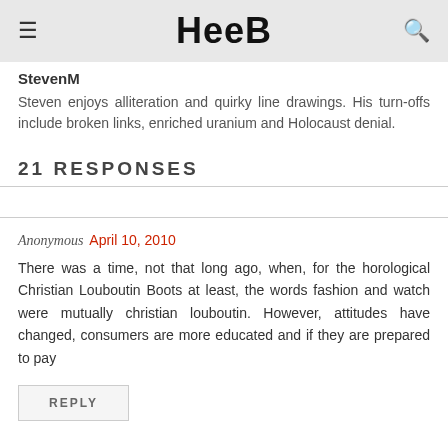Heeb
StevenM
Steven enjoys alliteration and quirky line drawings. His turn-offs include broken links, enriched uranium and Holocaust denial.
21 RESPONSES
Anonymous April 10, 2010
There was a time, not that long ago, when, for the horological Christian Louboutin Boots at least, the words fashion and watch were mutually christian louboutin. However, attitudes have changed, consumers are more educated and if they are prepared to pay
REPLY